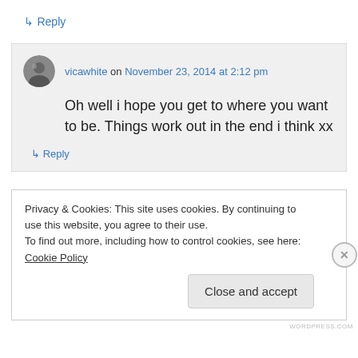↳ Reply
[Figure (photo): Small circular avatar photo of a person]
vicawhite on November 23, 2014 at 2:12 pm
Oh well i hope you get to where you want to be. Things work out in the end i think xx
↳ Reply
Privacy & Cookies: This site uses cookies. By continuing to use this website, you agree to their use.
To find out more, including how to control cookies, see here: Cookie Policy
Close and accept